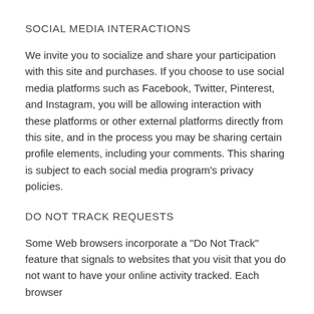SOCIAL MEDIA INTERACTIONS
We invite you to socialize and share your participation with this site and purchases. If you choose to use social media platforms such as Facebook, Twitter, Pinterest, and Instagram, you will be allowing interaction with these platforms or other external platforms directly from this site, and in the process you may be sharing certain profile elements, including your comments. This sharing is subject to each social media program's privacy policies.
DO NOT TRACK REQUESTS
Some Web browsers incorporate a "Do Not Track" feature that signals to websites that you visit that you do not want to have your online activity tracked. Each browser